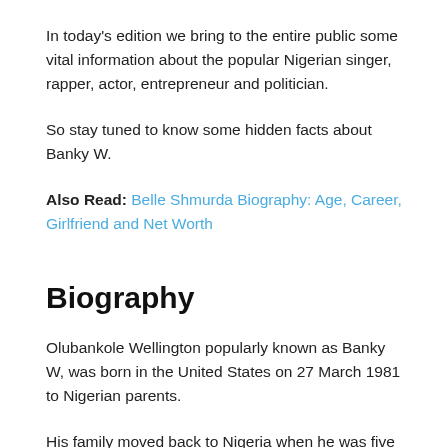In today's edition we bring to the entire public some vital information about the popular Nigerian singer, rapper, actor, entrepreneur and politician.
So stay tuned to know some hidden facts about Banky W.
Also Read: Belle Shmurda Biography: Age, Career, Girlfriend and Net Worth
Biography
Olubankole Wellington popularly known as Banky W, was born in the United States on 27 March 1981 to Nigerian parents.
His family moved back to Nigeria when he was five years